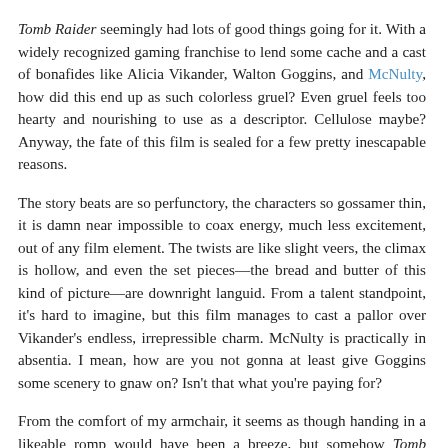Tomb Raider seemingly had lots of good things going for it. With a widely recognized gaming franchise to lend some cache and a cast of bonafides like Alicia Vikander, Walton Goggins, and McNulty, how did this end up as such colorless gruel? Even gruel feels too hearty and nourishing to use as a descriptor. Cellulose maybe? Anyway, the fate of this film is sealed for a few pretty inescapable reasons.
The story beats are so perfunctory, the characters so gossamer thin, it is damn near impossible to coax energy, much less excitement, out of any film element. The twists are like slight veers, the climax is hollow, and even the set pieces—the bread and butter of this kind of picture—are downright languid. From a talent standpoint, it's hard to imagine, but this film manages to cast a pallor over Vikander's endless, irrepressible charm. McNulty is practically in absentia. I mean, how are you not gonna at least give Goggins some scenery to gnaw on? Isn't that what you're paying for?
From the comfort of my armchair, it seems as though handing in a likeable romp would have been a breeze, but somehow Tomb Raider is just tired. The sets, the extras, the score, all lumbering across 122